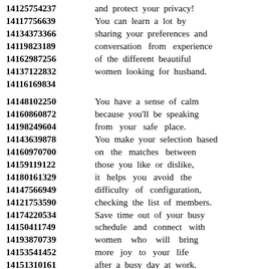14125754237 and protect your privacy! 14117756639 You can learn a lot by 14134373366 sharing your preferences and 14119823189 conversation from experience 14162987256 of the different beautiful 14137122832 women looking for husband. 14116169834

14148102250 You have a sense of calm 14160860872 because you'll be speaking 14198249604 from your safe place. 14143639878 You make your selection based 14160970700 on the matches between 14159119122 those you like or dislike, 14180161329 it helps you avoid the 14147566949 difficulty of configuration, 14121753590 checking the list of members. 14174220534 Save time out of your busy 14150411749 schedule and connect with 14193870739 women who will bring 14153541452 more joy to your life 14151310161 after a busy day at work. 14130137332 There are plenty of good 14187775523 opportunities for women, men 14185874645 which makes it easy for you 14173789854 to send and receive messages